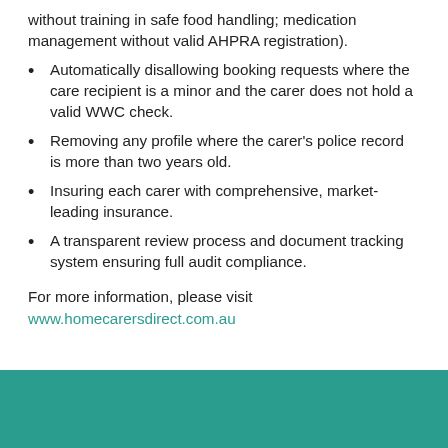without training in safe food handling; medication management without valid AHPRA registration).
Automatically disallowing booking requests where the care recipient is a minor and the carer does not hold a valid WWC check.
Removing any profile where the carer's police record is more than two years old.
Insuring each carer with comprehensive, market-leading insurance.
A transparent review process and document tracking system ensuring full audit compliance.
For more information, please visit
www.homecarersdirect.com.au